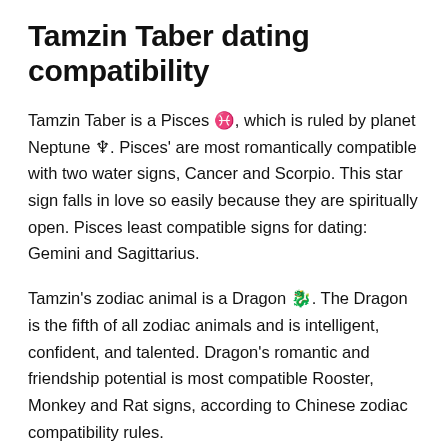Tamzin Taber dating compatibility
Tamzin Taber is a Pisces ♓, which is ruled by planet Neptune ♆. Pisces' are most romantically compatible with two water signs, Cancer and Scorpio. This star sign falls in love so easily because they are spiritually open. Pisces least compatible signs for dating: Gemini and Sagittarius.
Tamzin's zodiac animal is a Dragon 🐉. The Dragon is the fifth of all zodiac animals and is intelligent, confident, and talented. Dragon's romantic and friendship potential is most compatible Rooster, Monkey and Rat signs, according to Chinese zodiac compatibility rules. However, people of Dog, Rabbit, and Dragon signs